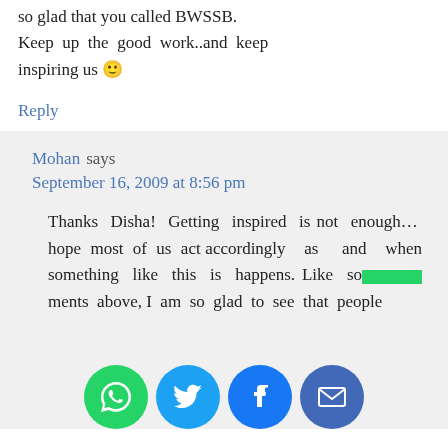so glad that you called BWSSB. Keep up the good work..and keep inspiring us 🙂
Reply
Mohan says
September 16, 2009 at 8:56 pm
Thanks Disha! Getting inspired is not enough... hope most of us act accordingly as and when something like this is happens. Like some of the comments above, I am so glad to see that people